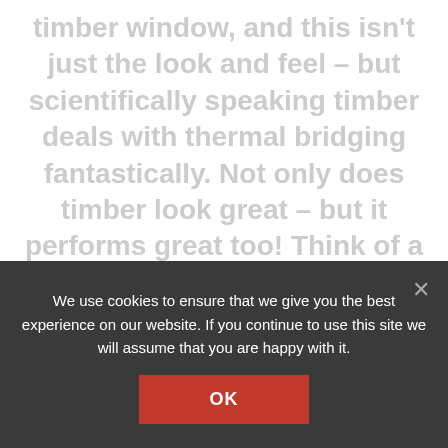timber window, and this isn't just the look and feel – but scientifically speaking timber deals with thermal bridging fantastically. Not only does timber look great – but it performs great too! Think of a timber window as an extension to your insulation!
We use cookies to ensure that we give you the best experience on our website. If you continue to use this site we will assume that you are happy with it.
OK